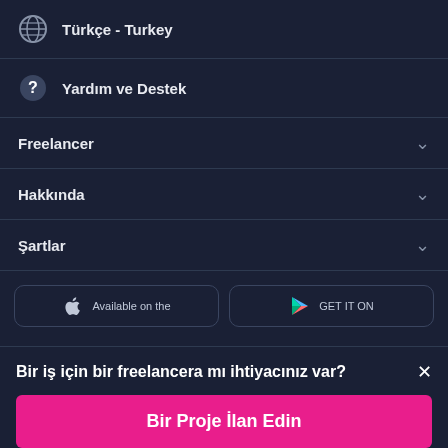Türkçe - Turkey
Yardım ve Destek
Freelancer
Hakkında
Şartlar
[Figure (screenshot): App store download buttons: 'Available on the' (Apple App Store) and 'GET IT ON' (Google Play)]
Bir iş için bir freelancera mı ihtiyacınız var?
Bir Proje İlan Edin